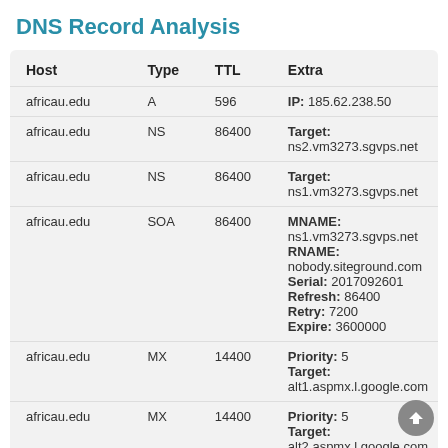DNS Record Analysis
| Host | Type | TTL | Extra |
| --- | --- | --- | --- |
| africau.edu | A | 596 | IP: 185.62.238.50 |
| africau.edu | NS | 86400 | Target: ns2.vm3273.sgvps.net |
| africau.edu | NS | 86400 | Target: ns1.vm3273.sgvps.net |
| africau.edu | SOA | 86400 | MNAME: ns1.vm3273.sgvps.net
RNAME: nobody.siteground.com
Serial: 2017092601
Refresh: 86400
Retry: 7200
Expire: 3600000 |
| africau.edu | MX | 14400 | Priority: 5
Target: alt1.aspmx.l.google.com |
| africau.edu | MX | 14400 | Priority: 5
Target: alt2.aspmx.l.google.com |
| africau.edu | MX | 14400 | Priority: 10 |